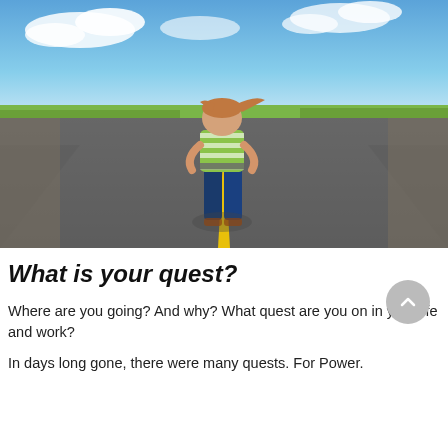[Figure (photo): A young child with reddish-brown hair, wearing a green and white striped sleeveless top and blue jeans, standing with hands on hips in the middle of a road with a yellow center line. The child faces away from the camera. Green grass and a blue sky with clouds are visible in the background.]
What is your quest?
Where are you going? And why? What quest are you on in your life and work?
In days long gone, there were many quests. For Power.